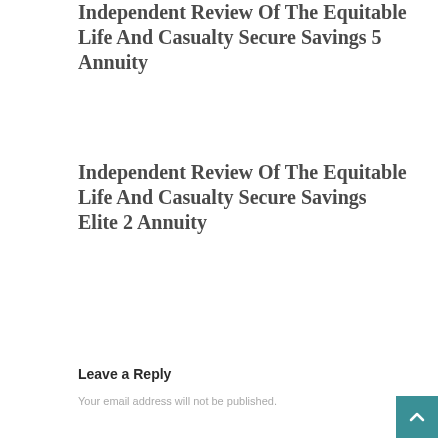Independent Review Of The Equitable Life And Casualty Secure Savings 5 Annuity
Independent Review Of The Equitable Life And Casualty Secure Savings Elite 2 Annuity
Leave a Reply
Your email address will not be published.